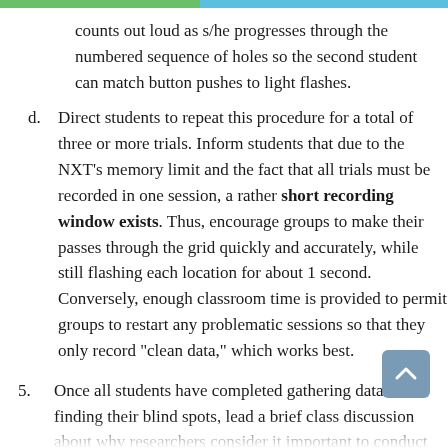counts out loud as s/he progresses through the numbered sequence of holes so the second student can match button pushes to light flashes.
d. Direct students to repeat this procedure for a total of three or more trials. Inform students that due to the NXT's memory limit and the fact that all trials must be recorded in one session, a rather short recording window exists. Thus, encourage groups to make their passes through the grid quickly and accurately, while still flashing each location for about 1 second. Conversely, enough classroom time is provided to permit groups to restart any problematic sessions so that they only record "clean data," which works best.
5. Once all students have completed gathering data and finding their blind spots, lead a brief class discussion about why researchers consider it important to conduct multiple data trials.